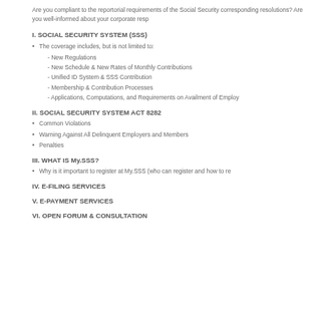Are you compliant to the reportorial requirements of the Social Security corresponding resolutions? Are you well-informed about your corporate resp
I. SOCIAL SECURITY SYSTEM (SSS)
The coverage includes, but is not limited to:
- New Regulations
- New Schedule & New Rates of Monthly Contributions
- Unified ID System & SSS Contribution
- Membership & Contribution Processes
- Applications, Computations, and Requirements on Availment of Employ
II. SOCIAL SECURITY SYSTEM ACT 8282
Common Violations
Warning Against All Delinquent Employers and Members
Penalties
III. WHAT IS My.SSS?
Why is it important to register at My.SSS (who can register and how to re
IV. E-FILING SERVICES
V. E-PAYMENT SERVICES
VI. OPEN FORUM & CONSULTATION